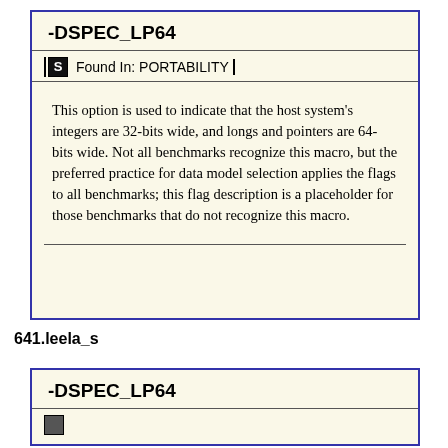-DSPEC_LP64
Found In: PORTABILITY
This option is used to indicate that the host system's integers are 32-bits wide, and longs and pointers are 64-bits wide. Not all benchmarks recognize this macro, but the preferred practice for data model selection applies the flags to all benchmarks; this flag description is a placeholder for those benchmarks that do not recognize this macro.
641.leela_s
-DSPEC_LP64